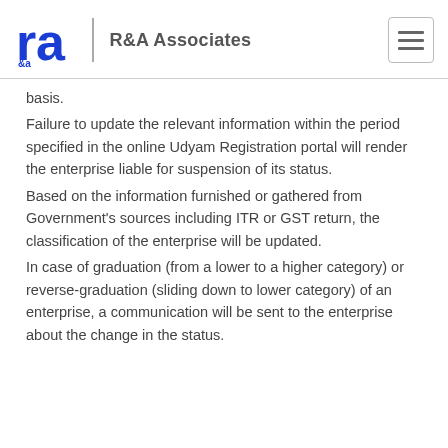R&A Associates
basis.
Failure to update the relevant information within the period specified in the online Udyam Registration portal will render the enterprise liable for suspension of its status.
Based on the information furnished or gathered from Government's sources including ITR or GST return, the classification of the enterprise will be updated.
In case of graduation (from a lower to a higher category) or reverse-graduation (sliding down to lower category) of an enterprise, a communication will be sent to the enterprise about the change in the status.